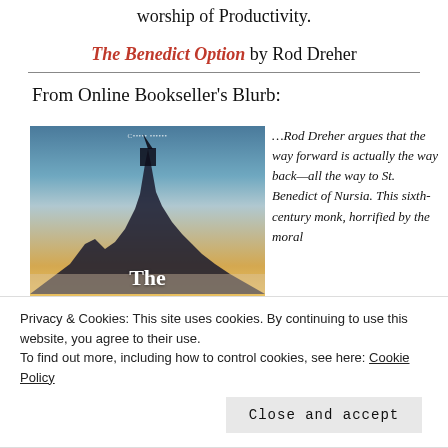worship of Productivity.
The Benedict Option by Rod Dreher
From Online Bookseller's Blurb:
[Figure (photo): Book cover of 'The Benedict Option' showing a silhouette of a mountain with a castle/church at its peak against a warm sunset sky, with the title 'The Benedict' visible at the bottom in white text.]
…Rod Dreher argues that the way forward is actually the way back—all the way to St. Benedict of Nursia. This sixth-century monk, horrified by the moral
Privacy & Cookies: This site uses cookies. By continuing to use this website, you agree to their use.
To find out more, including how to control cookies, see here: Cookie Policy
Close and accept
based on principles of